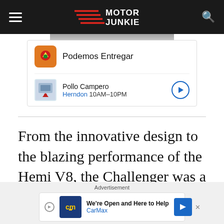MOTOR JUNKIE
[Figure (screenshot): Podemos Entregar advertisement with Pollo Campero listing showing Herndon 10AM-10PM]
From the innovative design to the blazing performance of the Hemi V8, the Challenger was a lot different than anything on the market. Think of ‘Vanishing Point’ as
[Figure (screenshot): CarMax advertisement: We're Open and Here to Help, CarMax]